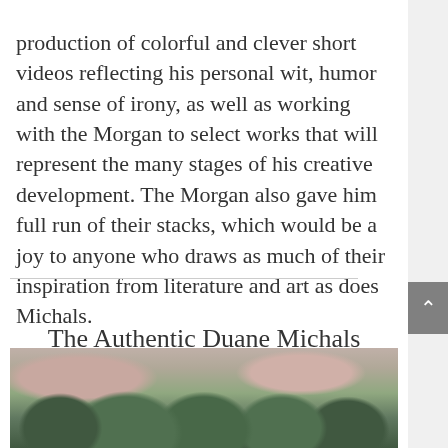production of colorful and clever short videos reflecting his personal wit, humor and sense of irony, as well as working with the Morgan to select works that will represent the many stages of his creative development. The Morgan also gave him full run of their stacks, which would be a joy to anyone who draws as much of their inspiration from literature and art as does Michals.
The Authentic Duane Michals
[Figure (photo): A blurred/soft-focus photograph showing figures or subjects with green and muted pink/rose tones, partially cut off at the bottom of the page.]